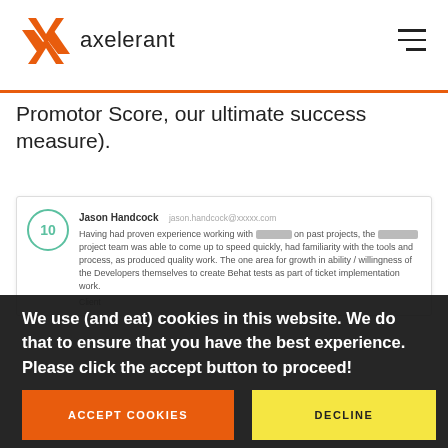[Figure (logo): Axelerant logo — orange X flame mark with 'axelerant' text in dark gray]
Promotor Score, our ultimate success measure).
Jason Handcock [redacted email] Having had proven experience working with [redacted] on past projects, the [redacted] project team was able to come up to speed quickly, had familiarity with the tools and process, as produced quality work. The one area for growth in ability / willingness of the Developers themselves to create Behat tests as part of ticket implementation work. Client
We use (and eat) cookies in this website. We do that to ensure that you have the best experience. Please click the accept button to proceed!
ACCEPT COOKIES
DECLINE